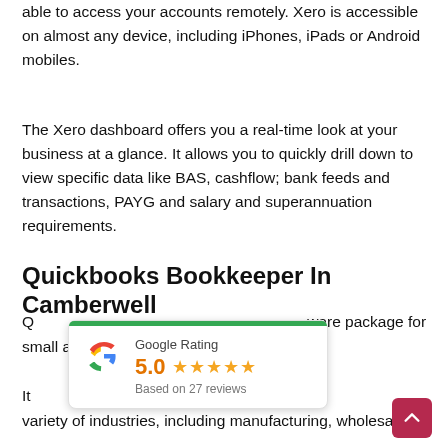able to access your accounts remotely. Xero is accessible on almost any device, including iPhones, iPads or Android mobiles.
The Xero dashboard offers you a real-time look at your business at a glance. It allows you to quickly drill down to view specific data like BAS, cashflow; bank feeds and transactions, PAYG and salary and superannuation requirements.
Quickbooks Bookkeeper In Camberwell
Q[...] ware package for small and m[...]
[Figure (infographic): Google Rating popup overlay showing 5.0 stars based on 27 reviews, with green bar at top and Google G logo]
It [...] rsions, each tailored t[...] variety of industries, including manufacturing, wholesaling